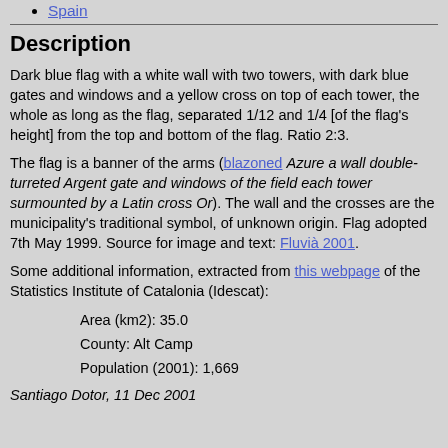Spain
Description
Dark blue flag with a white wall with two towers, with dark blue gates and windows and a yellow cross on top of each tower, the whole as long as the flag, separated 1/12 and 1/4 [of the flag's height] from the top and bottom of the flag. Ratio 2:3.
The flag is a banner of the arms (blazoned Azure a wall double-turreted Argent gate and windows of the field each tower surmounted by a Latin cross Or). The wall and the crosses are the municipality's traditional symbol, of unknown origin. Flag adopted 7th May 1999. Source for image and text: Fluvià 2001.
Some additional information, extracted from this webpage of the Statistics Institute of Catalonia (Idescat):
Area (km2): 35.0
County: Alt Camp
Population (2001): 1,669
Santiago Dotor, 11 Dec 2001